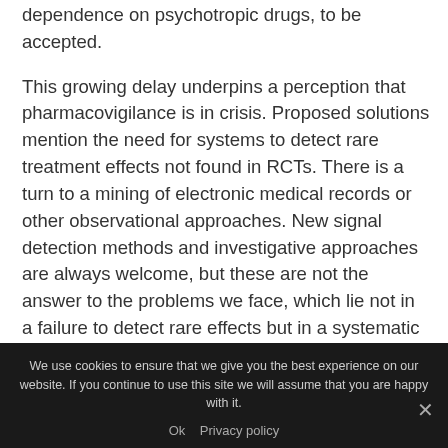dependence on psychotropic drugs, to be accepted.
This growing delay underpins a perception that pharmacovigilance is in crisis. Proposed solutions mention the need for systems to detect rare treatment effects not found in RCTs. There is a turn to a mining of electronic medical records or other observational approaches. New signal detection methods and investigative approaches are always welcome, but these are not the answer to the problems we face, which lie not in a failure to detect rare effects but in a systematic failure to acknowledge common effects.
Through to 1991, clinical knowledge also derived
We use cookies to ensure that we give you the best experience on our website. If you continue to use this site we will assume that you are happy with it.
Ok   Privacy policy